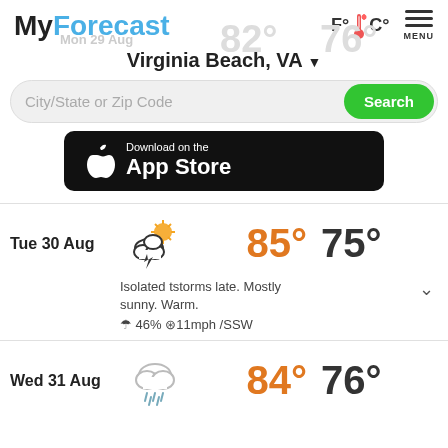MyForecast
Virginia Beach, VA
[Figure (screenshot): Search bar with City/State or Zip Code placeholder and green Search button]
[Figure (screenshot): Download on the App Store button (black rounded rectangle with Apple logo)]
Tue 30 Aug  85°  75°
Isolated tstorms late. Mostly sunny. Warm. ☂ 46% ⊙11mph /SSW
Wed 31 Aug  84°  76°